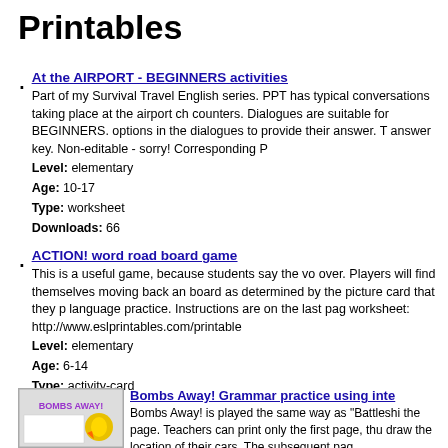Printables
At the AIRPORT - BEGINNERS activities
Part of my Survival Travel English series. PPT has typical conversations taking place at the airport check counters. Dialogues are suitable for BEGINNERS. options in the dialogues to provide their answer. To answer key. Non-editable - sorry! Corresponding P
Level: elementary
Age: 10-17
Type: worksheet
Downloads: 66
ACTION! word road board game
This is a useful game, because students say the voc over. Players will find themselves moving back and board as determined by the picture card that they p language practice. Instructions are on the last page worksheet: http://www.eslprintables.com/printable
Level: elementary
Age: 6-14
Type: activity-card
Downloads: 64
Bombs Away! Grammar practice using inte
Bombs Away! is played the same way as "Battleshi the page. Teachers can print only the first page, thu draw the location of their cars. The subsequent pag